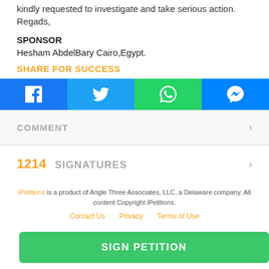kindly requested to investigate and take serious action. Regads,
SPONSOR
Hesham AbdelBary Cairo,Egypt.
SHARE FOR SUCCESS
[Figure (infographic): Social share buttons: Facebook, Twitter, WhatsApp, Messenger]
COMMENT
1214  SIGNATURES
iPetitions is a product of Angle Three Associates, LLC, a Delaware company. All content Copyright iPetitions.
Contact Us   Privacy   Terms of Use
SIGN PETITION